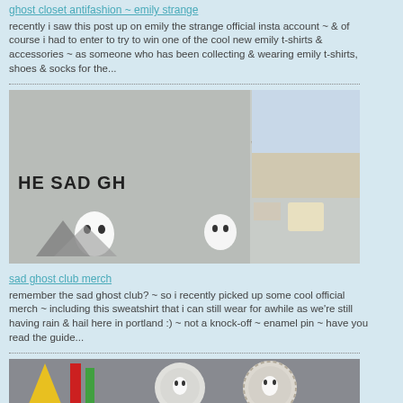ghost closet antifashion ~ emily strange
recently i saw this post up on emily the strange official insta account ~ & of course i had to enter to try to win one of the cool new emily t-shirts & accessories ~ as someone who has been collecting & wearing emily t-shirts, shoes & socks for the...
[Figure (photo): Gray sweatshirt with 'THE SAD GHOST' text and ghost illustrations, laid flat with various accessories]
sad ghost club merch
remember the sad ghost club? ~ so i recently picked up some cool official merch ~ including this sweatshirt that i can still wear for awhile as we're still having rain & hail here in portland :) ~ not a knock-off ~ enamel pin ~ have you read the guide...
[Figure (photo): Colorful fabric items including what appears to be ghost-themed merchandise with yellow hat and ghost plates]